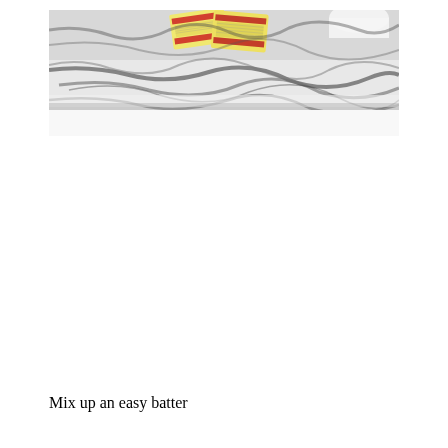[Figure (photo): Photo of butter packages on a white and black marble countertop surface. The butter boxes are yellow with red and white labeling, stacked slightly. The marble countertop has a dramatic veining pattern of dark gray and black against white.]
Mix up an easy batter